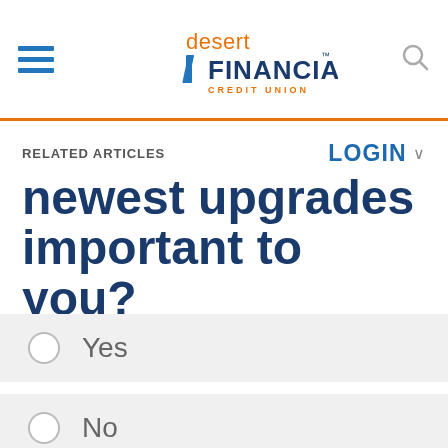Desert Financial Credit Union — navigation header with hamburger menu and search icon
RELATED ARTICLES
LOGIN
newest upgrades important to you?
Yes
No